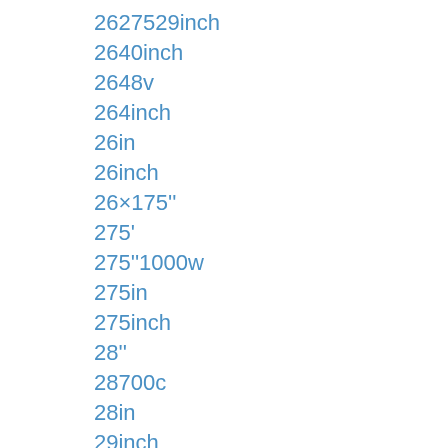2627529inch
2640inch
2648v
264inch
26in
26inch
26×175''
275'
275''1000w
275in
275inch
28''
28700c
28in
29inch